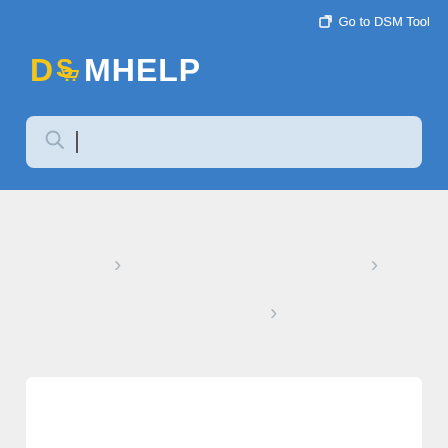[Figure (screenshot): DSMHelp website header with blue background, logo, Go to DSM Tool link, and search bar]
Go to DSM Tool
DSMHELP
[Figure (screenshot): Gray content area with navigation chevron arrows and white card below]